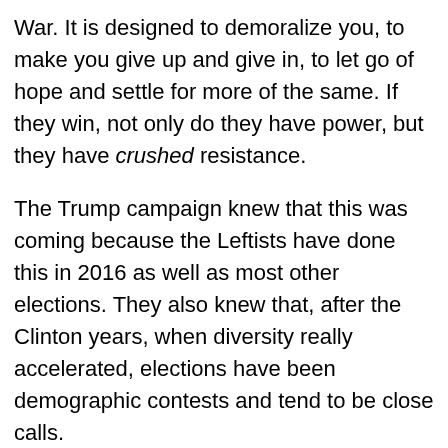War. It is designed to demoralize you, to make you give up and give in, to let go of hope and settle for more of the same. If they win, not only do they have power, but they have crushed resistance.
The Trump campaign knew that this was coming because the Leftists have done this in 2016 as well as most other elections. They also knew that, after the Clinton years, when diversity really accelerated, elections have been demographic contests and tend to be close calls.